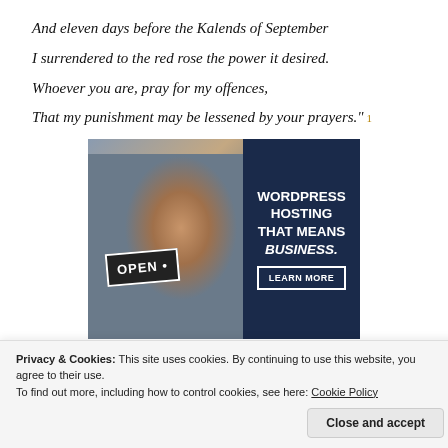And eleven days before the Kalends of September
I surrendered to the red rose the power it desired.
Whoever you are, pray for my offences,
That my punishment may be lessened by your prayers." 1
[Figure (photo): Advertisement showing a smiling woman holding an OPEN sign, with dark blue panel showing text: WORDPRESS HOSTING THAT MEANS BUSINESS. with a LEARN MORE button.]
Privacy & Cookies: This site uses cookies. By continuing to use this website, you agree to their use.
To find out more, including how to control cookies, see here: Cookie Policy
Close and accept